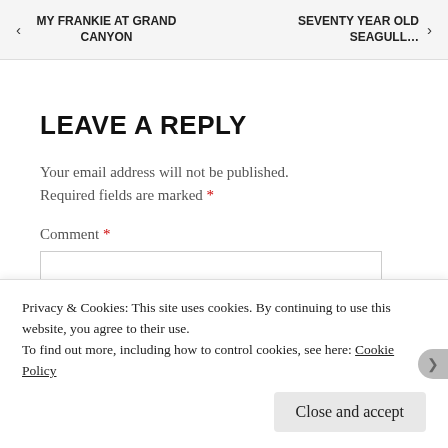◄ MY FRANKIE AT GRAND CANYON    SEVENTY YEAR OLD SEAGULL… ►
LEAVE A REPLY
Your email address will not be published. Required fields are marked *
Comment *
Privacy & Cookies: This site uses cookies. By continuing to use this website, you agree to their use.
To find out more, including how to control cookies, see here: Cookie Policy
Close and accept